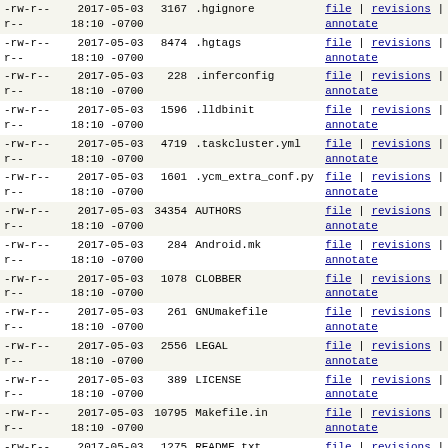| permissions | date | size | name | links |
| --- | --- | --- | --- | --- |
| -rw-r--
r-- | 2017-05-03
18:10 -0700 | 3167 | .hgignore | file | revisions | annotate |
| -rw-r--
r-- | 2017-05-03
18:10 -0700 | 8474 | .hgtags | file | revisions | annotate |
| -rw-r--
r-- | 2017-05-03
18:10 -0700 | 228 | .inferconfig | file | revisions | annotate |
| -rw-r--
r-- | 2017-05-03
18:10 -0700 | 1596 | .lldbinit | file | revisions | annotate |
| -rw-r--
r-- | 2017-05-03
18:10 -0700 | 4719 | .taskcluster.yml | file | revisions | annotate |
| -rw-r--
r-- | 2017-05-03
18:10 -0700 | 1601 | .ycm_extra_conf.py | file | revisions | annotate |
| -rw-r--
r-- | 2017-05-03
18:10 -0700 | 34354 | AUTHORS | file | revisions | annotate |
| -rw-r--
r-- | 2017-05-03
18:10 -0700 | 284 | Android.mk | file | revisions | annotate |
| -rw-r--
r-- | 2017-05-03
18:10 -0700 | 1078 | CLOBBER | file | revisions | annotate |
| -rw-r--
r-- | 2017-05-03
18:10 -0700 | 261 | GNUmakefile | file | revisions | annotate |
| -rw-r--
r-- | 2017-05-03
18:10 -0700 | 2556 | LEGAL | file | revisions | annotate |
| -rw-r--
r-- | 2017-05-03
18:10 -0700 | 389 | LICENSE | file | revisions | annotate |
| -rw-r--
r-- | 2017-05-03
18:10 -0700 | 10795 | Makefile.in | file | revisions | annotate |
| -rw-r--
r-- | 2017-05-03
18:10 -0700 | 1275 | README.txt | file | revisions | annotate |